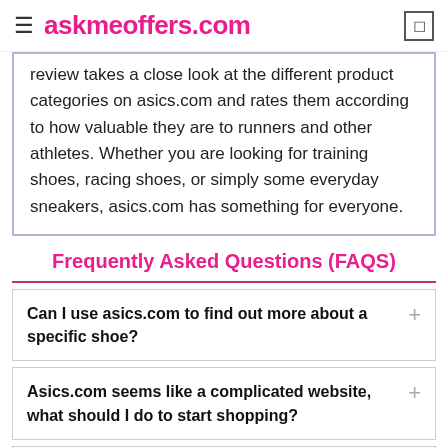askmeoffers.com
review takes a close look at the different product categories on asics.com and rates them according to how valuable they are to runners and other athletes. Whether you are looking for training shoes, racing shoes, or simply some everyday sneakers, asics.com has something for everyone.
Frequently Asked Questions (FAQS)
Can I use asics.com to find out more about a specific shoe?
Asics.com seems like a complicated website, what should I do to start shopping?
Does asics.com ship to Australia?